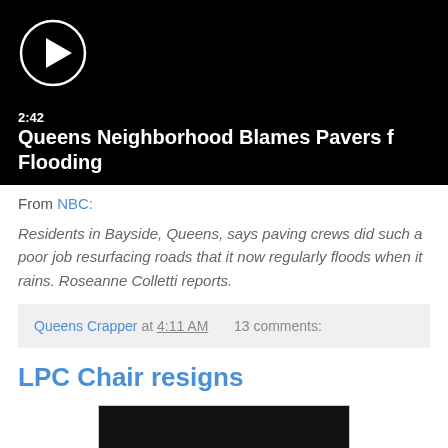[Figure (screenshot): Video thumbnail with play button, duration 2:42, and title 'Queens Neighborhood Blames Pavers f... Flooding' on black background]
From NBC:
Residents in Bayside, Queens, says paving crews did such a poor job resurfacing roads that it now regularly floods when it rains. Roseanne Colletti reports.
Queens Crapper at 4:11 AM   13 comments:
LPC Chair resigns
[Figure (screenshot): Partial video thumbnail, black background, partially visible]